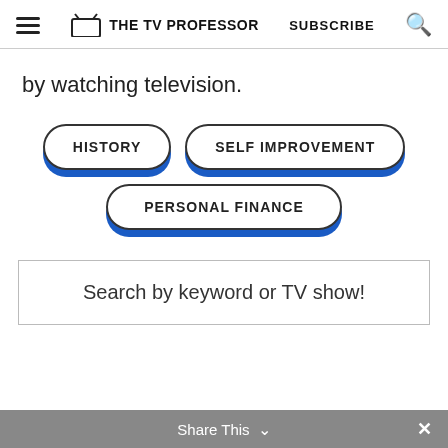THE TV PROFESSOR | SUBSCRIBE
by watching television.
HISTORY
SELF IMPROVEMENT
PERSONAL FINANCE
Search by keyword or TV show!
Share This